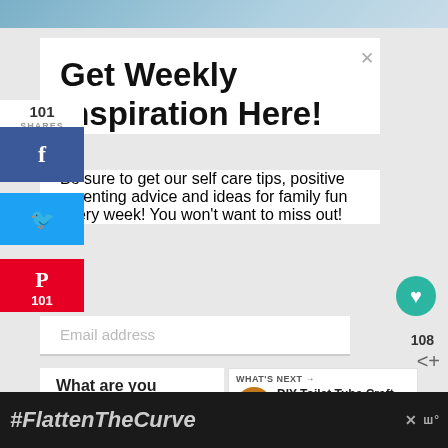[Figure (screenshot): Top decorative image strip with blue gradient tones]
Get Weekly Inspiration Here!
Be sure to get our self care tips, positive parenting advice and ideas for family fun every week! You won't want to miss out!
Email address
101 SHARES
[Figure (infographic): Facebook share button (blue background, f icon)]
[Figure (infographic): Twitter share button (light blue background, bird icon)]
[Figure (infographic): Pinterest share button (red background, P icon, 101 count)]
108
What are you interested in hearing
[Figure (infographic): What's Next widget with DIY Toilet Tube Craft F... thumbnail]
Self Care & Relationships
[Figure (screenshot): #FlattenTheCurve advertisement banner at bottom with hand washing image]